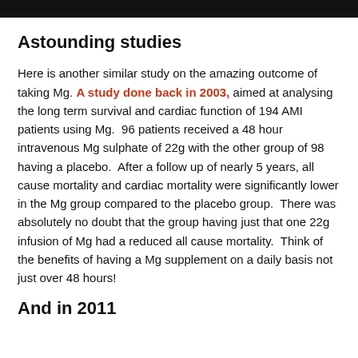Astounding studies
Here is another similar study on the amazing outcome of taking Mg. A study done back in 2003, aimed at analysing the long term survival and cardiac function of 194 AMI patients using Mg.  96 patients received a 48 hour intravenous Mg sulphate of 22g with the other group of 98 having a placebo.  After a follow up of nearly 5 years, all cause mortality and cardiac mortality were significantly lower in the Mg group compared to the placebo group.  There was absolutely no doubt that the group having just that one 22g infusion of Mg had a reduced all cause mortality.  Think of the benefits of having a Mg supplement on a daily basis not just over 48 hours!
And in 2011